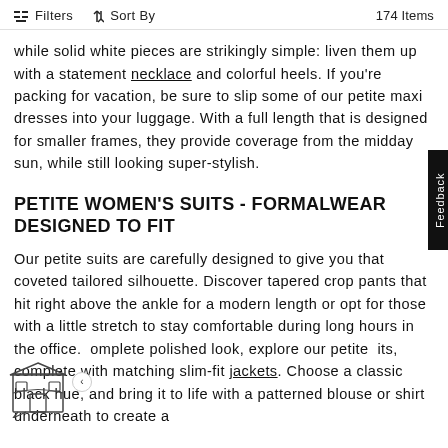Filters   ↑↓ Sort By   174 Items
while solid white pieces are strikingly simple: liven them up with a statement necklace and colorful heels. If you're packing for vacation, be sure to slip some of our petite maxi dresses into your luggage. With a full length that is designed for smaller frames, they provide coverage from the midday sun, while still looking super-stylish.
PETITE WOMEN'S SUITS - FORMALWEAR DESIGNED TO FIT
Our petite suits are carefully designed to give you that coveted tailored silhouette. Discover tapered crop pants that hit right above the ankle for a modern length or opt for those with a little stretch to stay comfortable during long hours in the office. complete polished look, explore our petite its, complete with matching slim-fit jackets. Choose a classic black hue, and bring it to life with a patterned blouse or shirt underneath to create a
[Figure (illustration): Store/shop icon illustration with a small building facade with window and awning]
Feedback